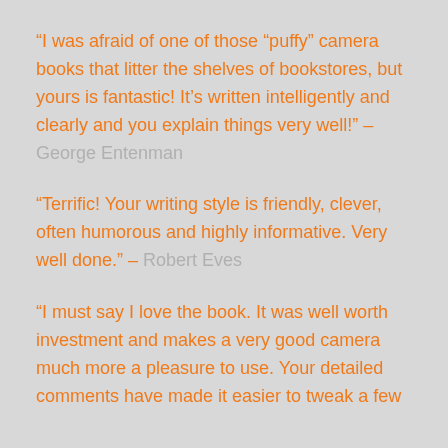“I was afraid of one of those “puffy” camera books that litter the shelves of bookstores, but yours is fantastic! It’s written intelligently and clearly and you explain things very well!” – George Entenman
“Terrific! Your writing style is friendly, clever, often humorous and highly informative. Very well done.” – Robert Eves
“I must say I love the book. It was well worth investment and makes a very good camera much more a pleasure to use. Your detailed comments have made it easier to tweak a few